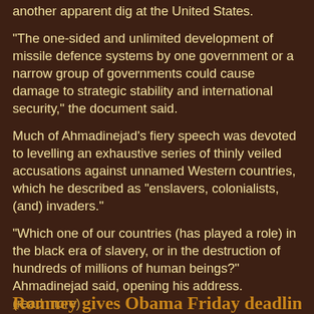another apparent dig at the United States.
"The one-sided and unlimited development of missile defence systems by one government or a narrow group of governments could cause damage to strategic stability and international security," the document said.
Much of Ahmadinejad's fiery speech was devoted to levelling an exhaustive series of thinly veiled accusations against unnamed Western countries, which he described as "enslavers, colonialists, (and) invaders."
"Which one of our countries (has played a role) in the black era of slavery, or in the destruction of hundreds of millions of human beings?" Ahmadinejad said, opening his address. (read more)
Matt at 6:00 PM
Share
Romney gives Obama Friday deadline...